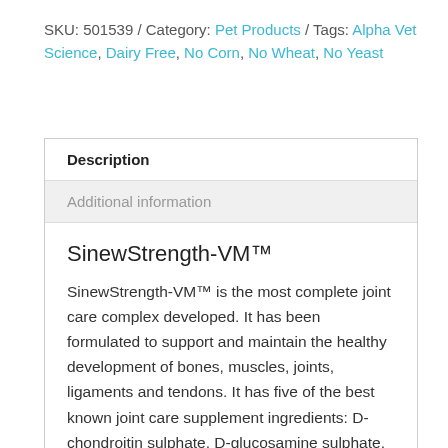SKU: 501539 / Category: Pet Products / Tags: Alpha Vet Science, Dairy Free, No Corn, No Wheat, No Yeast
| Description |
| Additional information |
SinewStrength-VM™
SinewStrength-VM™ is the most complete joint care complex developed. It has been formulated to support and maintain the healthy development of bones, muscles, joints, ligaments and tendons. It has five of the best known joint care supplement ingredients: D-chondroitin sulphate, D-glucosamine sulphate, MSM, hyaluronic acid and hydrolyzed collagen. SinewStrength-VM™